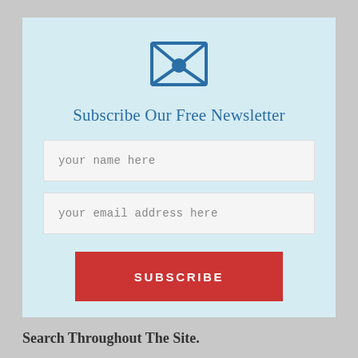[Figure (illustration): Blue envelope icon with an X fold pattern and a blue circle in the center]
Subscribe Our Free Newsletter
your name here
your email address here
SUBSCRIBE
Search Throughout The Site.